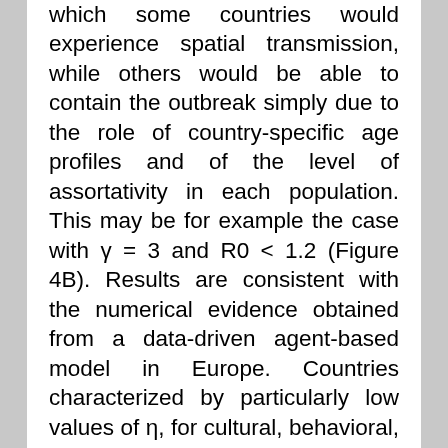which some countries would experience spatial transmission, while others would be able to contain the outbreak simply due to the role of country-specific age profiles and of the level of assortativity in each population. This may be for example the case with γ = 3 and R0 < 1.2 (Figure 4B). Results are consistent with the numerical evidence obtained from a data-driven agent-based model in Europe. Countries characterized by particularly low values of η, for cultural, behavioral, and/or social reasons, would be at a lower risk of invasion. Therefore control measures aimed at reducing the contacts ratio η of a specific country may represent an effective policy option to consider. This could be